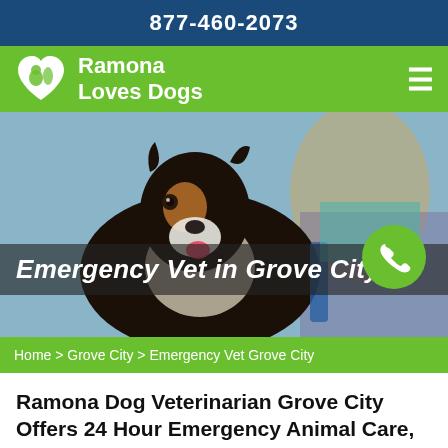877-460-2073
[Figure (logo): Ramona Loves Dogs logo with heart icon containing dog and person silhouette, on green navigation bar with hamburger menu]
[Figure (photo): A collie/sheltie dog being groomed or examined at a vet, with a blonde person in background; overlay text reads 'Emergency Vet in Grove City' with green phone circle button]
Home > Grove City > Emergency Vet Grove City
Ramona Dog Veterinarian Grove City Offers 24 Hour Emergency Animal Care, As Well As Routine Veterinary Services